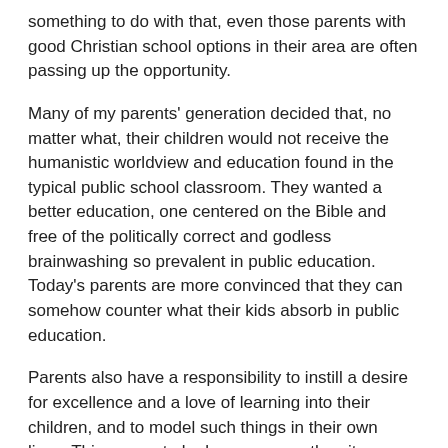something to do with that, even those parents with good Christian school options in their area are often passing up the opportunity.
Many of my parents' generation decided that, no matter what, their children would not receive the humanistic worldview and education found in the typical public school classroom. They wanted a better education, one centered on the Bible and free of the politically correct and godless brainwashing so prevalent in public education. Today's parents are more convinced that they can somehow counter what their kids absorb in public education.
Parents also have a responsibility to instill a desire for excellence and a love of learning into their children, and to model such things in their own lives. This seems to be less common than it was when I was a kid.
Lowering of Standards, both academic and otherwise: This, quite frankly, is a terrible shame. A Christian education should—must—be both thoroughly Christian and academically excellent.